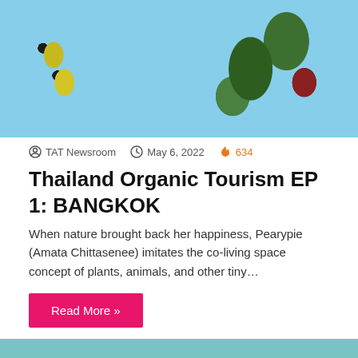[Figure (photo): Top portion of a travel blog post image showing a person in a smiley-face patterned outfit near tropical plants and a coastal scene]
TAT Newsroom  May 6, 2022  🔥 634
Thailand Organic Tourism EP 1: BANGKOK
When nature brought back her happiness, Pearypie (Amata Chittasenee) imitates the co-living space concept of plants, animals, and other tiny…
Read More »
[Figure (photo): Aerial view of two surfers on surfboards in turquoise water, both waving their arms]